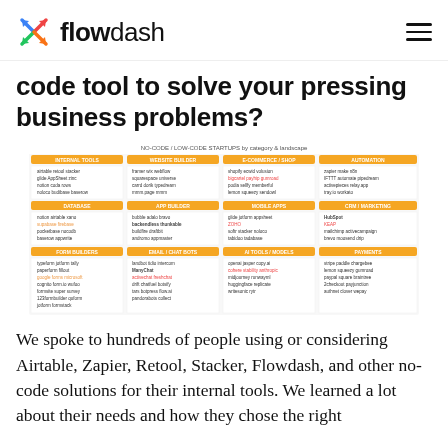flowdash
code tool to solve your pressing business problems?
[Figure (infographic): A landscape infographic grid showing NO-CODE / LOW-CODE STARTUPS categorized by type with orange section headers and company logos arranged in columns and rows.]
We spoke to hundreds of people using or considering Airtable, Zapier, Retool, Stacker, Flowdash, and other no-code solutions for their internal tools. We learned a lot about their needs and how they chose the right